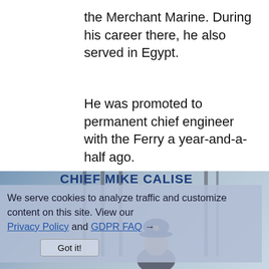the Merchant Marine. During his career there, he also served in Egypt.
He was promoted to permanent chief engineer with the Ferry a year-and-a-half ago.
CHIEF MIKE CALISE
[Figure (photo): Photo of Chief Mike Calise, a man wearing a navy blue cap, standing in front of metal fence bars with a blue/grey background. A cookie consent overlay is visible on top of the image.]
We serve cookies to analyze traffic and customize content on this site. View our Privacy Policy and GDPR FAQ →
Got it!